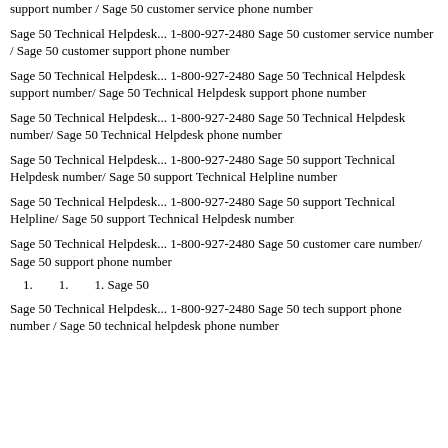support number / Sage 50 customer service phone number
Sage 50 Technical Helpdesk... 1-800-927-2480 Sage 50 customer service number / Sage 50 customer support phone number
Sage 50 Technical Helpdesk... 1-800-927-2480 Sage 50 Technical Helpdesk support number/ Sage 50 Technical Helpdesk support phone number
Sage 50 Technical Helpdesk... 1-800-927-2480 Sage 50 Technical Helpdesk number/ Sage 50 Technical Helpdesk phone number
Sage 50 Technical Helpdesk... 1-800-927-2480 Sage 50 support Technical Helpdesk number/ Sage 50 support Technical Helpline number
Sage 50 Technical Helpdesk... 1-800-927-2480 Sage 50 support Technical Helpline/ Sage 50 support Technical Helpdesk number
Sage 50 Technical Helpdesk... 1-800-927-2480 Sage 50 customer care number/ Sage 50 support phone number
1.        1.        1. Sage 50
Sage 50 Technical Helpdesk... 1-800-927-2480 Sage 50 tech support phone number / Sage 50 technical helpdesk phone number